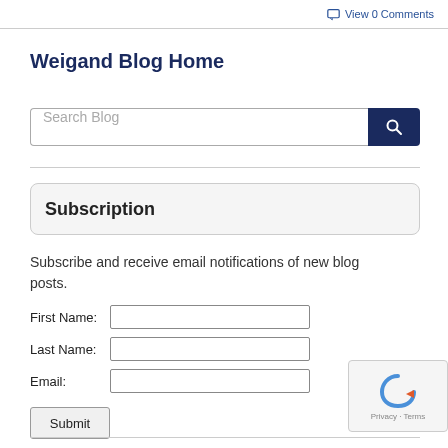View 0 Comments
Weigand Blog Home
[Figure (screenshot): Search Blog input field with dark navy blue search button containing a magnifying glass icon]
Subscription
Subscribe and receive email notifications of new blog posts.
First Name: [input field]
Last Name: [input field]
Email: [input field]
[Submit button]
[Figure (other): reCAPTCHA widget showing robot icon with Privacy and Terms text]